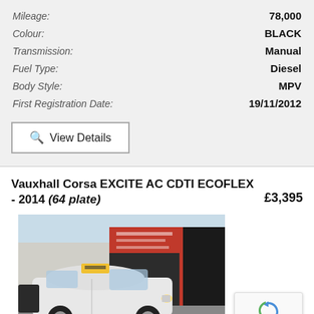Mileage: 78,000
Colour: BLACK
Transmission: Manual
Fuel Type: Diesel
Body Style: MPV
First Registration Date: 19/11/2012
View Details
Vauxhall Corsa EXCITE AC CDTI ECOFLEX - 2014 (64 plate)   £3,395
[Figure (photo): White Vauxhall Corsa with a yellow learner sign on the roof, parked outside a car dealership with red signage. A reCAPTCHA badge is visible in the bottom right corner.]